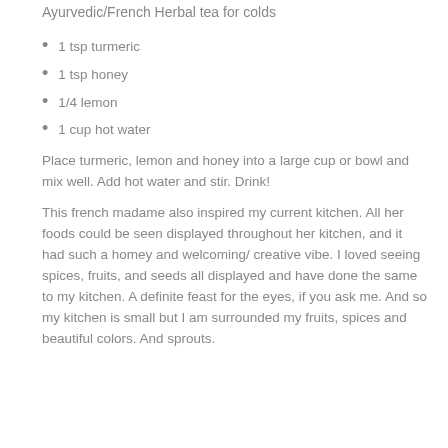Ayurvedic/French Herbal tea for colds
1 tsp turmeric
1 tsp honey
1/4 lemon
1 cup hot water
Place turmeric, lemon and honey into a large cup or bowl and mix well. Add hot water and stir. Drink!
This french madame also inspired my current kitchen. All her foods could be seen displayed throughout her kitchen, and it had such a homey and welcoming/ creative vibe. I loved seeing spices, fruits, and seeds all displayed and have done the same to my kitchen. A definite feast for the eyes, if you ask me. And so my kitchen is small but I am surrounded my fruits, spices and beautiful colors. And sprouts.